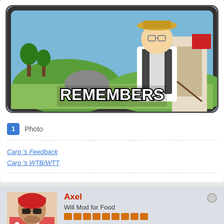[Figure (illustration): Animated cartoon character (elderly man in farming attire with hat) from Family Guy/animated show, with text overlay reading REMEMBERS in large bold white letters with black outline, shown in a TV screen frame]
1 Photo
Carp 's Feedback
Carp 's WTB/WTT
[Figure (photo): Profile photo of user Axel - a man wearing sunglasses and a red head covering, with a floral shirt]
Axel
Will Mod for Food
Join Date: Jul 2020    Posts: 1466
Location: MCB Building Sub-Basement Level 2 Genetic Modification Lab